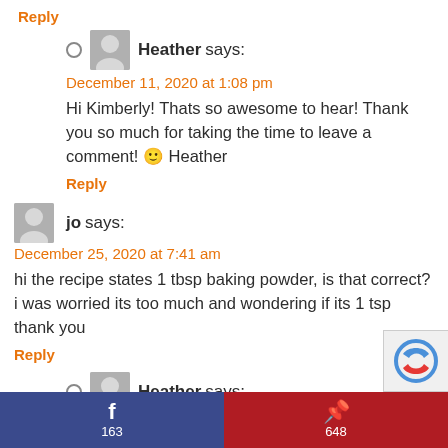Reply
Heather says:
December 11, 2020 at 1:08 pm
Hi Kimberly! Thats so awesome to hear! Thank you so much for taking the time to leave a comment! 🙂 Heather
Reply
jo says:
December 25, 2020 at 7:41 am
hi the recipe states 1 tbsp baking powder, is that correct? i was worried its too much and wondering if its 1 tsp thank you
Reply
Heather says:
December 26, 2020 at 12:59 am